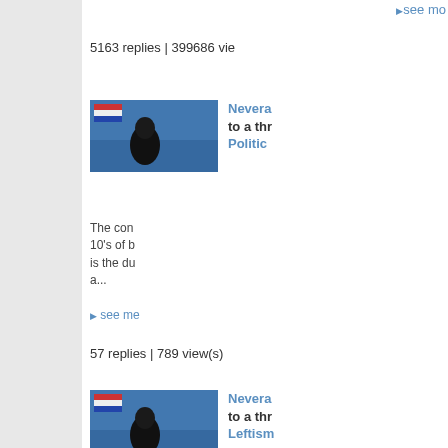▶ see more
5163 replies | 399686 views
[Figure (photo): Thumbnail photo of a figure in suit from behind at a blue-lit podium]
Nevera to a thr Politics
The con 10's of b is the du a...
▶ see more
57 replies | 789 view(s)
[Figure (photo): Thumbnail photo of a figure in suit from behind at a blue-lit podium]
Nevera to a thr Leftism
▶ see more
126 replies | 1876 view(s)
[Figure (photo): Thumbnail photo of a figure in suit from behind at a blue-lit podium]
Nevera to a thr Leftism
They wo